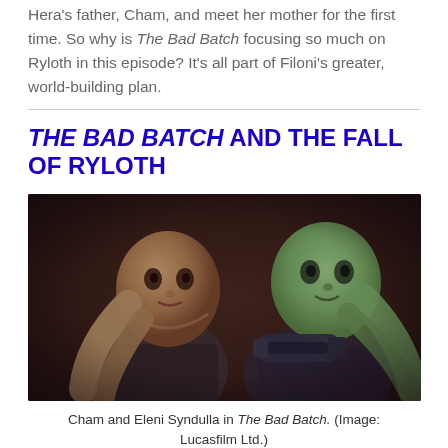Hera's father, Cham, and meet her mother for the first time. So why is The Bad Batch focusing so much on Ryloth in this episode? It's all part of Filoni's greater, world-building plan.
THE BAD BATCH AND THE FALL OF RYLOTH
[Figure (photo): Cham and Eleni Syndulla from The Bad Batch animated series, two Twi'lek characters in a dramatic scene with dark background]
Cham and Eleni Syndulla in The Bad Batch. (Image: Lucasfilm Ltd.)
One of the underlying themes of the show is how the